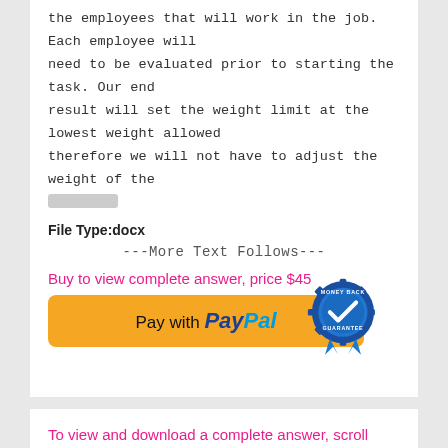the employees that will work in the job. Each employee will need to be evaluated prior to starting the task. Our end result will set the weight limit at the lowest weight allowed therefore we will not have to adjust the weight of the [redacted]
File Type:docx
---More Text Follows---
Buy to view complete answer, price $45
[Figure (other): PayPal payment button (yellow/orange rounded rectangle) with 'Pay with PayPal' text]
[Figure (other): Money Back Guarantee badge (blue circular badge with checkmark and ribbon)]
To view and download a complete answer, scroll down to the bottom to pay
[Figure (screenshot): Preview box showing document content (bordered rectangle)]